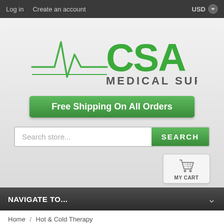Log in   Create an account   USD
[Figure (logo): CSA Medical Supply logo with green ECG/heartbeat line graphic and green letter text]
Free Shipping On All Orders
Search store...
MY CART
NAVIGATE TO...
Home / Hot & Cold Therapy